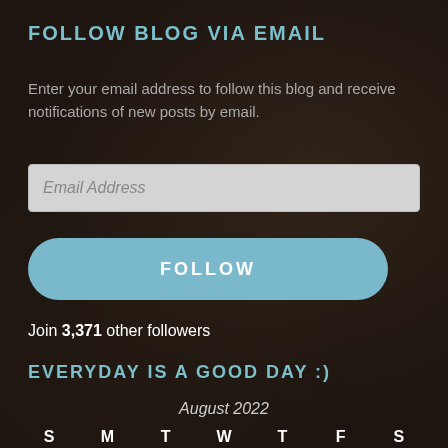FOLLOW BLOG VIA EMAIL
Enter your email address to follow this blog and receive notifications of new posts by email.
[Figure (screenshot): Email address input field with placeholder text 'Email Address']
[Figure (screenshot): Blue rounded FOLLOW button]
Join 3,371 other followers
EVERYDAY IS A GOOD DAY :)
August 2022
S M T W T F S